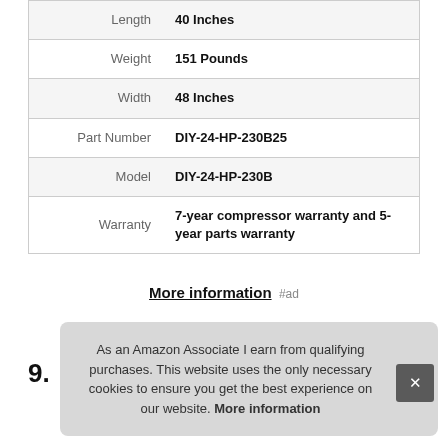| Attribute | Value |
| --- | --- |
| Length | 40 Inches |
| Weight | 151 Pounds |
| Width | 48 Inches |
| Part Number | DIY-24-HP-230B25 |
| Model | DIY-24-HP-230B |
| Warranty | 7-year compressor warranty and 5-year parts warranty |
More information #ad
9.
As an Amazon Associate I earn from qualifying purchases. This website uses the only necessary cookies to ensure you get the best experience on our website. More information